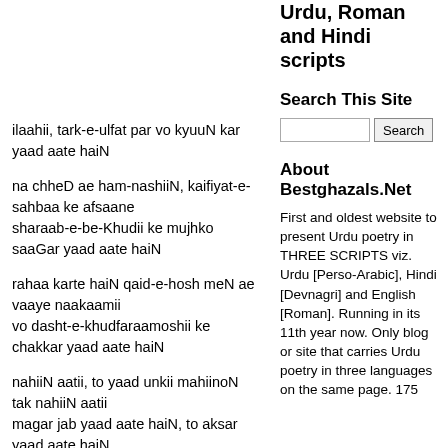Urdu, Roman and Hindi scripts
Search This Site
About Bestghazals.Net
First and oldest website to present Urdu poetry in THREE SCRIPTS viz. Urdu [Perso-Arabic], Hindi [Devnagri] and English [Roman]. Running in its 11th year now. Only blog or site that carries Urdu poetry in three languages on the same page. 175
ilaahii, tark-e-ulfat par vo kyuuN kar yaad aate haiN
na chheD ae ham-nashiiN, kaifiyat-e-sahbaa ke afsaane
sharaab-e-be-Khudii ke mujhko saaGar yaad aate haiN
rahaa karte haiN qaid-e-hosh meN ae vaaye naakaamii
vo dasht-e-khudfaraamoshii ke chakkar yaad aate haiN
nahiiN aatii, to yaad unkii mahiinoN tak nahiiN aatii
magar jab yaad aate haiN, to aksar yaad aate haiN
haqiiqat khul gaii Hasrat tere tark-e-mohabbat kii